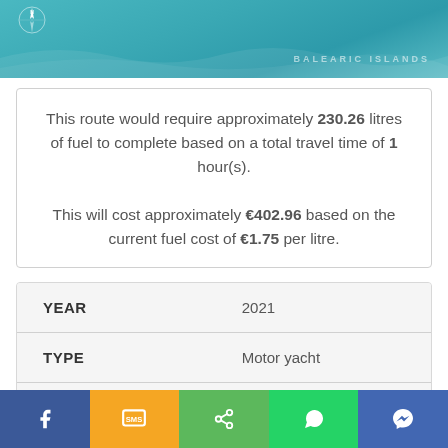[Figure (map): Teal/turquoise map strip showing Balearic Islands with compass rose and wave shapes]
This route would require approximately 230.26 litres of fuel to complete based on a total travel time of 1 hour(s). This will cost approximately €402.96 based on the current fuel cost of €1.75 per litre.
|  |  |
| --- | --- |
| YEAR | 2021 |
| TYPE | Motor yacht |
| BEAM | 4.38m (14') |
| LENGTH | 16.51m (54') |